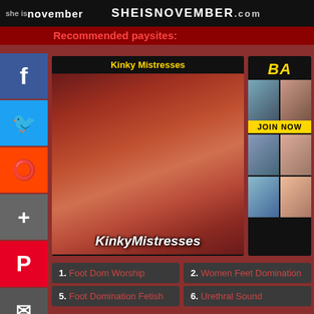SHEISNOVEMBER.com
Recommended paysites:
[Figure (photo): Kinky Mistresses promotional card with overlay text]
[Figure (illustration): Animated/hentai site advertisement with JOIN NOW button]
1. Foot Dom Worship
2. Women Feet Domination
5. Foot Domination Fetish
6. Urethral Sound